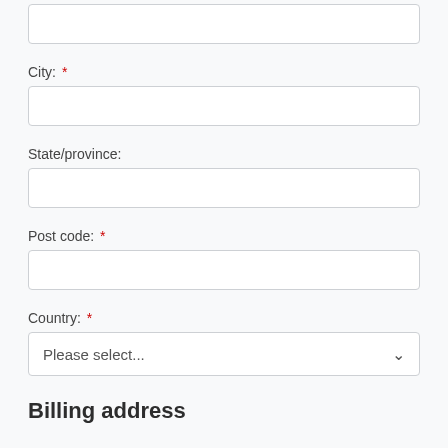(partial input field at top, no label visible)
City: *
State/province:
Post code: *
Country: *
Please select...
Billing address